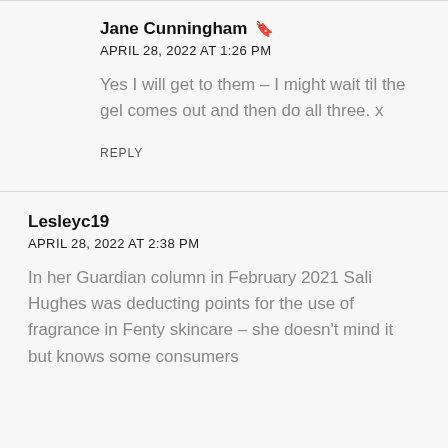Jane Cunningham 🔖
APRIL 28, 2022 AT 1:26 PM
Yes I will get to them – I might wait til the gel comes out and then do all three. x
REPLY
Lesleyc19
APRIL 28, 2022 AT 2:38 PM
In her Guardian column in February 2021 Sali Hughes was deducting points for the use of fragrance in Fenty skincare – she doesn't mind it but knows some consumers